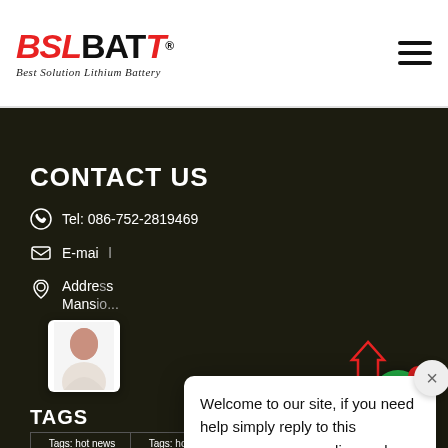BSLBATT - Best Solution Lithium Battery
CONTACT US
Tel: 086-752-2819469
E-mail
Address / Mans
[Figure (screenshot): Chat popup overlay with message: Welcome to our site, if you need help simply reply to this message, we are online and ready to help. Customer Support - just now]
TAGS
Tags: hot news
Tags: hot news
Tags: hot news
Tags: hot news
Tags: hot news
Tags: hot news
Tags: hot news
Tags: hot news